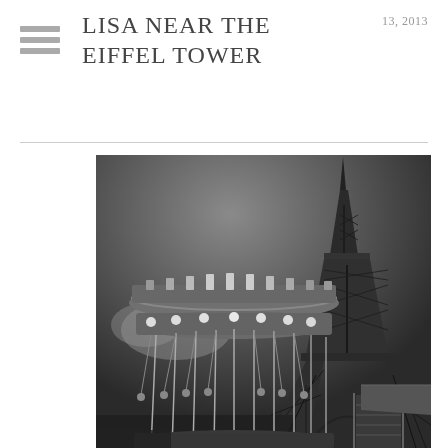LISA NEAR THE EIFFEL TOWER
13, 2013
[Figure (photo): Black and white photograph of a carousel merry-go-round with the Eiffel Tower rising in the background against a dramatic dark sky. The carousel features ornate decorative elements at the top and hanging chains/seats. The photo is taken from a low angle emphasizing the grandeur of both the carousel and the tower.]